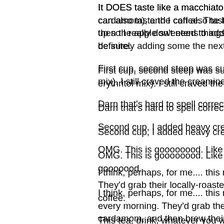It DOES taste like a macchiato. It's definitely cardamom (and I love cardamom), and I can also taste the coffee. The black pepper is lovely, then the apple sweetens things up so I really don't need to add much... definitely adding some the next steep. Just to be sure.
First cup, second steep was surprisingly similar, with a touch of Krisda (erythritol mix). I still craved the creaminess of a macchiato.
Darn that's hard to spell correctly. Macchiato.
Second cup, I added heavy cream + Krisda.
OMG. This is goooooood. Like I could drink this all day long. Goooooood.
I think, perhaps, for me.... this reminds me of a coffee I used to make every morning. They'd grab their locally-roasted beans, add in some cardamom, and then brew their coffee.
This tea, drink, whatever you want to call it at this point... it reminds me of that feeling, that moment, that.... ah